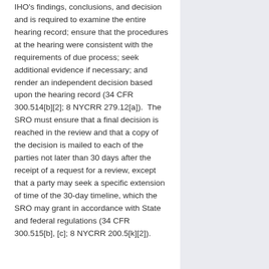IHO's findings, conclusions, and decision and is required to examine the entire hearing record; ensure that the procedures at the hearing were consistent with the requirements of due process; seek additional evidence if necessary; and render an independent decision based upon the hearing record (34 CFR 300.514[b][2]; 8 NYCRR 279.12[a]). The SRO must ensure that a final decision is reached in the review and that a copy of the decision is mailed to each of the parties not later than 30 days after the receipt of a request for a review, except that a party may seek a specific extension of time of the 30-day timeline, which the SRO may grant in accordance with State and federal regulations (34 CFR 300.515[b], [c]; 8 NYCRR 200.5[k][2]).